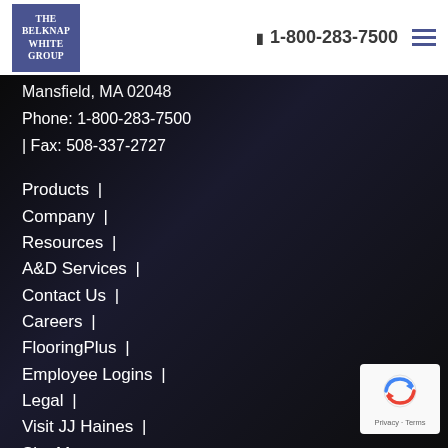[Figure (logo): The Belknap White Group logo — white text on dark blue/purple square background]
1-800-283-7500
Mansfield, MA 02048
Phone: 1-800-283-7500 | Fax: 508-337-2727
Products |
Company |
Resources |
A&D Services |
Contact Us |
Careers |
FlooringPlus |
Employee Logins |
Legal |
Visit JJ Haines |
Site Map
[Figure (other): reCAPTCHA badge with spinning arrows logo and Privacy - Terms text]